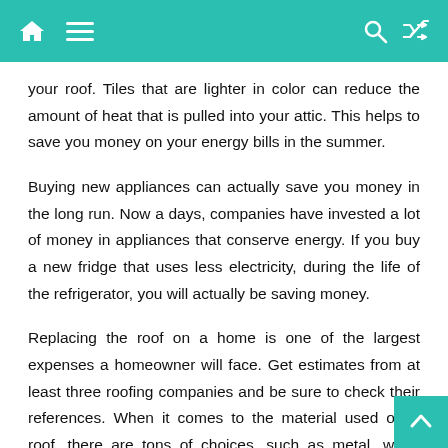Navigation header bar with home, menu, search, and shuffle icons
your roof. Tiles that are lighter in color can reduce the amount of heat that is pulled into your attic. This helps to save you money on your energy bills in the summer.
Buying new appliances can actually save you money in the long run. Now a days, companies have invested a lot of money in appliances that conserve energy. If you buy a new fridge that uses less electricity, during the life of the refrigerator, you will actually be saving money.
Replacing the roof on a home is one of the largest expenses a homeowner will face. Get estimates from at least three roofing companies and be sure to check their references. When it comes to the material used on a roof, there are tons of choices, such as metal, wood shake, composite shingles, and lightweight tiles. A good contractor that does roofing will